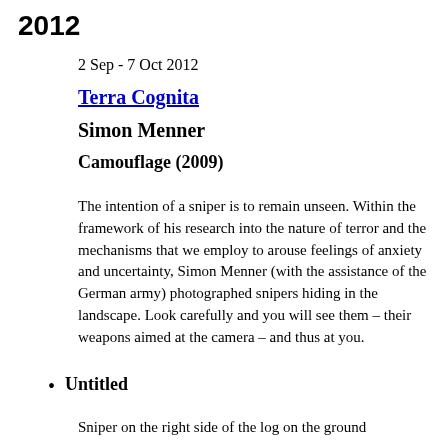2012
2 Sep - 7 Oct 2012
Terra Cognita
Simon Menner
Camouflage (2009)
The intention of a sniper is to remain unseen. Within the framework of his research into the nature of terror and the mechanisms that we employ to arouse feelings of anxiety and uncertainty, Simon Menner (with the assistance of the German army) photographed snipers hiding in the landscape. Look carefully and you will see them – their weapons aimed at the camera – and thus at you.
Untitled
Sniper on the right side of the log on the ground
[Figure (photo): Photograph showing camouflage/landscape scene, partially visible at bottom of page]